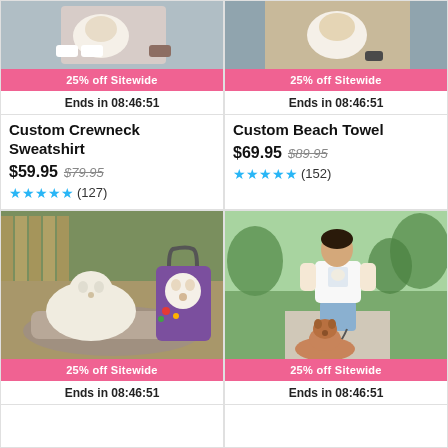[Figure (photo): Photo of a dog wearing shoes, top of product card, cropped]
25% off Sitewide
Ends in 08:46:51
Custom Crewneck Sweatshirt
$59.95 $79.95
★★★★★ (127)
[Figure (photo): Photo of a dog, top of product card, cropped]
25% off Sitewide
Ends in 08:46:51
Custom Beach Towel
$69.95 $89.95
★★★★★ (152)
[Figure (photo): Photo of a white dog lying near a stone circle with a colorful custom bag featuring a dog portrait]
25% off Sitewide
Ends in 08:46:51
[Figure (photo): Photo of a man standing on a sidewalk holding a leash with a brown dog, wearing a custom t-shirt with a dog portrait]
25% off Sitewide
Ends in 08:46:51